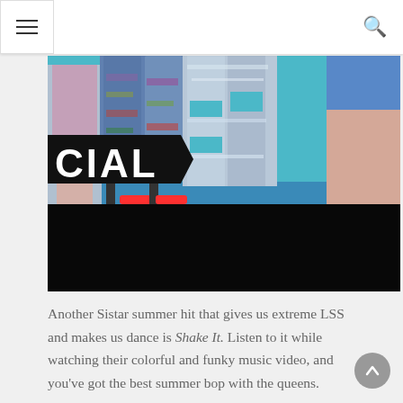Navigation menu header with hamburger icon and search icon
[Figure (photo): Photo showing the lower bodies and legs of multiple women in colorful outfits against a teal/blue background. One person wears graphic-print jeans with red heels, another wears a silver/sparkly distressed outfit, another wears denim shorts. A partial 'CIAL' text label in white on black is overlaid on the left side. The bottom portion of the image is black.]
Another Sistar summer hit that gives us extreme LSS and makes us dance is Shake It. Listen to it while watching their colorful and funky music video, and you've got the best summer bop with the queens.